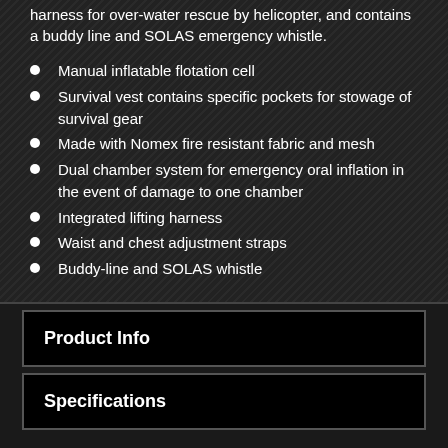harness for over-water rescue by helicopter, and contains a buddy line and SOLAS emergency whistle.
Manual inflatable flotation cell
Survival vest contains specific pockets for stowage of survival gear
Made with Nomex fire resistant fabric and mesh
Dual chamber system for emergency oral inflation in the event of damage to one chamber
Integrated lifting harness
Waist and chest adjustment straps
Buddy-line and SOLAS whistle
Product Info
Specifications